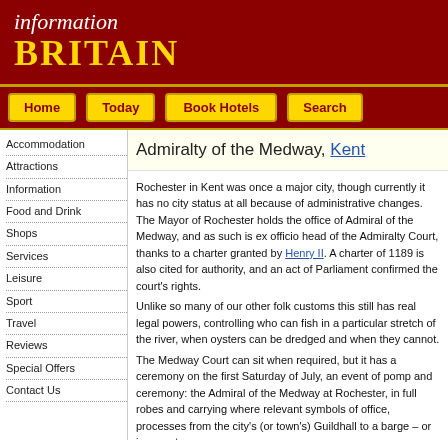information BRITAIN
Home
Today
Book Hotels
Search
Accommodation
Attractions
Information
Food and Drink
Shops
Services
Leisure
Sport
Travel
Reviews
Special Offers
Contact Us
Admiralty of the Medway, Kent
Rochester in Kent was once a major city, though currently it has no city status at all because of administrative changes. The Mayor of Rochester holds the office of Admiral of the Medway, and as such is ex officio head of the Admiralty Court, thanks to a charter granted by Henry II. A charter of 1189 is also cited for authority, and an act of Parliament confirmed the court's rights.
Unlike so many of our other folk customs this still has real legal powers, controlling who can fish in a particular stretch of the river, when oysters can be dredged and when they cannot.
The Medway Court can sit when required, but it has a ceremony on the first Saturday of July, an event of pomp and ceremony: the Admiral of the Medway at Rochester, in full robes and carrying where relevant symbols of office, processes from the city's (or town's) Guildhall to a barge – or in recent